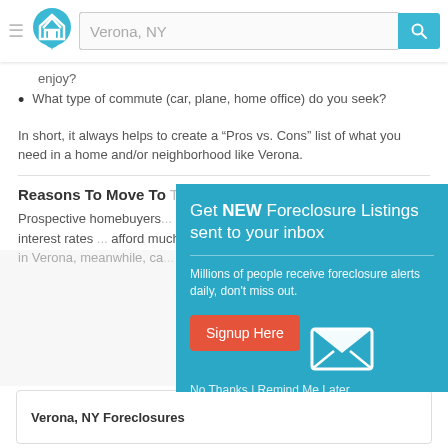[Figure (screenshot): Website header with hamburger menu, house logo, search bar with 'Verona, NY', and teal search button with magnifying glass icon]
enjoy?
What type of commute (car, plane, home office) do you seek?
In short, it always helps to create a “Pros vs. Cons” list of what you need in a home and/or neighborhood like Verona.
Reasons To Move To [partially covered]
Prospective homebuyers [partially covered] interest rates and numer[partially covered] These low interest rates [partially covered] afford much more house[partially covered] interest rates were highe[partially covered] in Verona, meanwhile, ca[partially covered] qualified buyers.
[Figure (other): Modal popup with teal background. Title: 'Get NEW Foreclosure Listings sent to your inbox'. Subtitle: 'Millions of people receive foreclosure alerts daily, don’t miss out.' Button: 'Signup Here' in red/orange. Envelope icon. Links: 'No Thanks | Remind Me Later']
Verona, NY Foreclosures